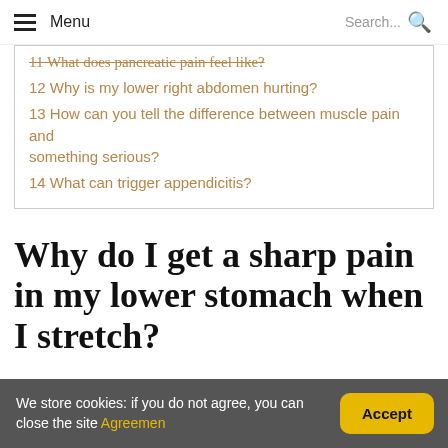Menu | Search...
11 What does pancreatic pain feel like?
12 Why is my lower right abdomen hurting?
13 How can you tell the difference between muscle pain and something serious?
14 What can trigger appendicitis?
Why do I get a sharp pain in my lower stomach when I stretch?
If you feel a sharp pain near your belly button that gets
We store cookies: if you do not agree, you can close the site Agreement